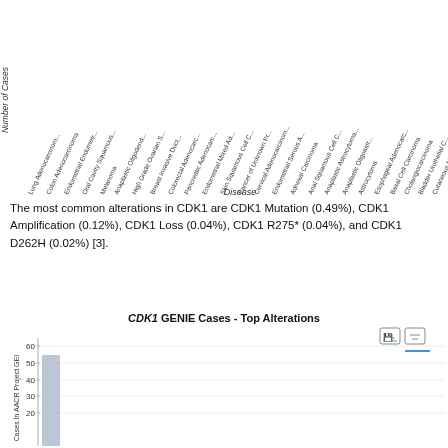[Figure (bar-chart): Partial view of a bar chart showing number of CDK1 cases in AACR Project GENIE by disease type. X-axis labels are rotated cancer/disease names. Only the top portion is visible.]
The most common alterations in CDK1 are CDK1 Mutation (0.49%), CDK1 Amplification (0.12%), CDK1 Loss (0.04%), CDK1 R275* (0.04%), and CDK1 D262H (0.02%) [3].
[Figure (bar-chart): Bar chart showing CDK1 GENIE Cases - Top Alterations. Y-axis shows values from 20 to 60. One tall bar visible (~55) on left side. Chart is partially cut off at bottom.]